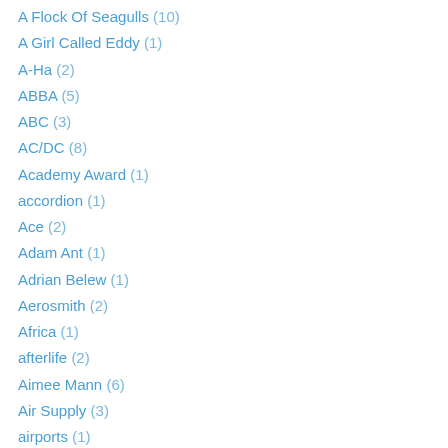A Flock Of Seagulls (10)
A Girl Called Eddy (1)
A-Ha (2)
ABBA (5)
ABC (3)
AC/DC (8)
Academy Award (1)
accordion (1)
Ace (2)
Adam Ant (1)
Adrian Belew (1)
Aerosmith (2)
Africa (1)
afterlife (2)
Aimee Mann (6)
Air Supply (3)
airports (1)
Al Davis (2)
Alabama (1)
Alan Parsons Project (6)